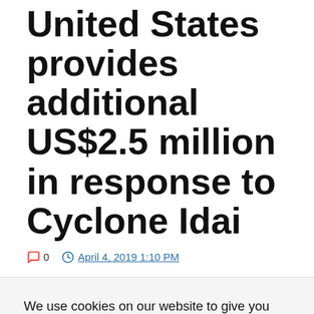United States provides additional US$2.5 million in response to Cyclone Idai
0  April 4, 2019 1:10 PM
We use cookies on our website to give you the most relevant experience by remembering your preferences and repeat visits. By clicking “Accept All”, you consent to the use of ALL the cookies. However, you may visit "Cookie Settings" to provide a controlled consent.